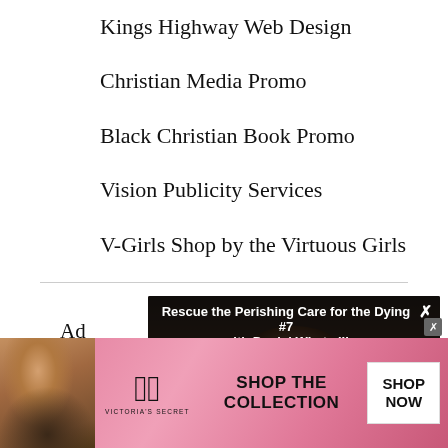Kings Highway Web Design
Christian Media Promo
Black Christian Book Promo
Vision Publicity Services
V-Girls Shop by the Virtuous Girls
Ad
To
Go
[Figure (screenshot): Video overlay popup showing 'Rescue the Perishing Care for the Dying #7 with Daniel Whyte III' with a dark image of a man wearing glasses]
[Figure (photo): Victoria's Secret advertisement banner with model, VS logo, SHOP THE COLLECTION text, and SHOP NOW button]